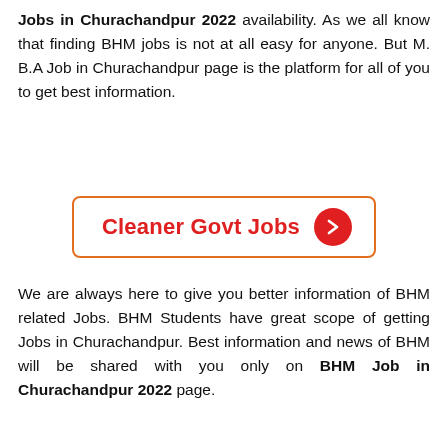Jobs in Churachandpur 2022 availability. As we all know that finding BHM jobs is not at all easy for anyone. But M. B.A Job in Churachandpur page is the platform for all of you to get best information.
[Figure (other): Button/CTA element with orange border, red text 'Cleaner Govt Jobs' and a red circle with white right arrow]
We are always here to give you better information of BHM related Jobs. BHM Students have great scope of getting Jobs in Churachandpur. Best information and news of BHM will be shared with you only on BHM Job in Churachandpur 2022 page.